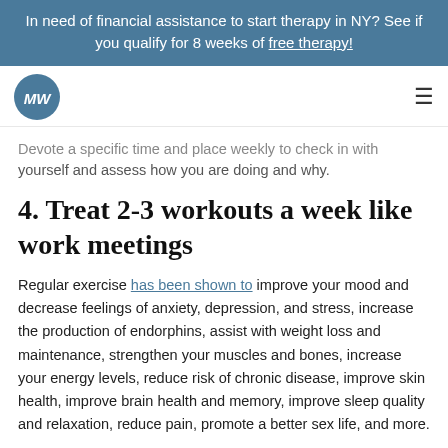In need of financial assistance to start therapy in NY? See if you qualify for 8 weeks of free therapy!
[Figure (logo): MW circular logo in teal/blue with stylized cursive letters MW]
Devote a specific time and place weekly to check in with yourself and assess how you are doing and why.
4. Treat 2-3 workouts a week like work meetings
Regular exercise has been shown to improve your mood and decrease feelings of anxiety, depression, and stress, increase the production of endorphins, assist with weight loss and maintenance, strengthen your muscles and bones, increase your energy levels, reduce risk of chronic disease, improve skin health, improve brain health and memory, improve sleep quality and relaxation, reduce pain, promote a better sex life, and more.